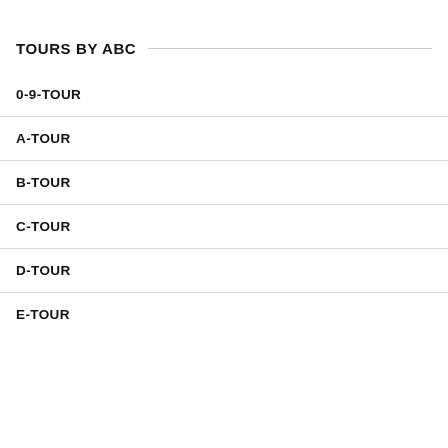TOURS BY ABC
0-9-TOUR
A-TOUR
B-TOUR
C-TOUR
D-TOUR
E-TOUR